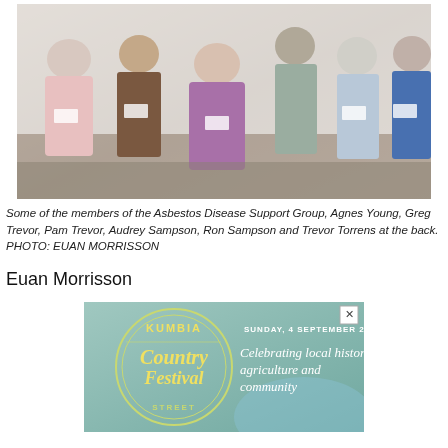[Figure (photo): Group photo of members of the Asbestos Disease Support Group: Agnes Young, Greg Trevor, Pam Trevor, Audrey Sampson, Ron Sampson and Trevor Torrens. Six people standing in a room, wearing name tags.]
Some of the members of the Asbestos Disease Support Group, Agnes Young, Greg Trevor, Pam Trevor, Audrey Sampson, Ron Sampson and Trevor Torrens at the back. PHOTO: EUAN MORRISSON
Euan Morrisson
[Figure (illustration): Advertisement for Kumbia Country Festival, Sunday 4 September 2022. Celebrating local history, agriculture and community. Features circular logo design with festival name and text on teal/green background.]